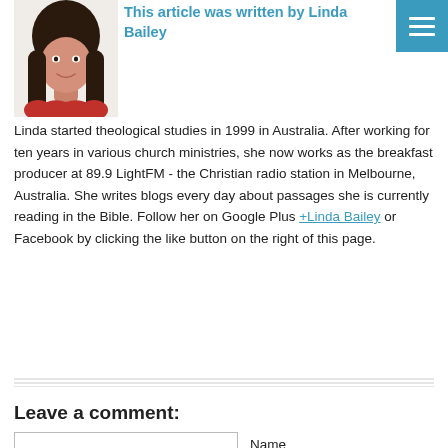[Figure (photo): Portrait photo of Linda Bailey, a young woman with long dark hair wearing a red top, smiling.]
This article was written by Linda Bailey
Linda started theological studies in 1999 in Australia. After working for ten years in various church ministries, she now works as the breakfast producer at 89.9 LightFM - the Christian radio station in Melbourne, Australia. She writes blogs every day about passages she is currently reading in the Bible. Follow her on Google Plus +Linda Bailey or Facebook by clicking the like button on the right of this page.
Leave a comment: